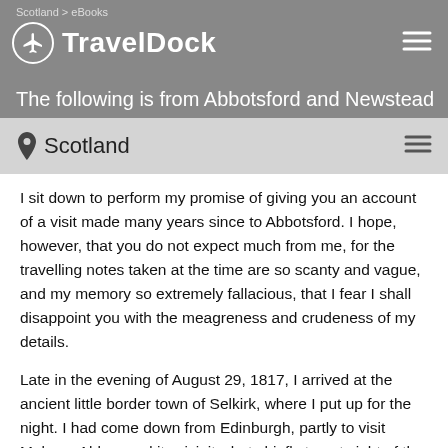Scotland > eBooks
TravelDock
The following is from Abbotsford and Newstead
Scotland
I sit down to perform my promise of giving you an account of a visit made many years since to Abbotsford. I hope, however, that you do not expect much from me, for the travelling notes taken at the time are so scanty and vague, and my memory so extremely fallacious, that I fear I shall disappoint you with the meagreness and crudeness of my details.
Late in the evening of August 29, 1817, I arrived at the ancient little border town of Selkirk, where I put up for the night. I had come down from Edinburgh, partly to visit Melrose Abbey and its vicinity, but chiefly to get sight of the "mighty minstrel of the north." I had a letter of introduction